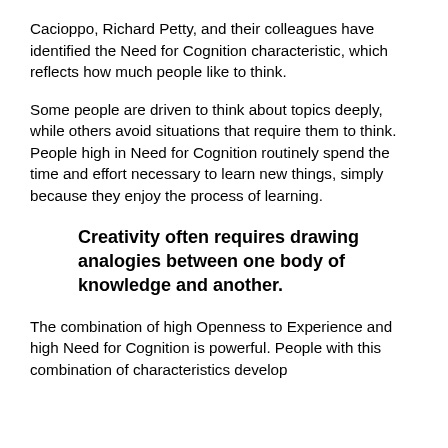Cacioppo, Richard Petty, and their colleagues have identified the Need for Cognition characteristic, which reflects how much people like to think.
Some people are driven to think about topics deeply, while others avoid situations that require them to think. People high in Need for Cognition routinely spend the time and effort necessary to learn new things, simply because they enjoy the process of learning.
Creativity often requires drawing analogies between one body of knowledge and another.
The combination of high Openness to Experience and high Need for Cognition is powerful. People with this combination of characteristics develop